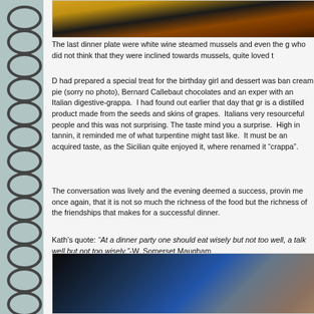[Figure (photo): Top photo of mussels dish with food on a plate]
The last dinner plate were white wine steamed mussels and even the g who did not think that they were inclined towards mussels, quite loved t
D had prepared a special treat for the birthday girl and dessert was ban cream pie (sorry no photo), Bernard Callebaut chocolates and an exper with an Italian digestive-grappa.  I had found out earlier that day that gr is a distilled product made from the seeds and skins of grapes.  Italians very resourceful people and this was not surprising. The taste mind you a surprise.  High in tannin, it reminded me of what turpentine might taste like.  It must be an acquired taste, as the Sicilian quite enjoyed it, where renamed it “crappa”.
The conversation was lively and the evening deemed a success, provin me once again, that it is not so much the richness of the food but the richness of the friendships that makes for a successful dinner.
Kath’s quote: “At a dinner party one should eat wisely but not too well, a talk well but not too wisely.”-W. Somerset Maugham
[Figure (photo): Bottom photo showing dark outdoor scene with blue sky and trees]